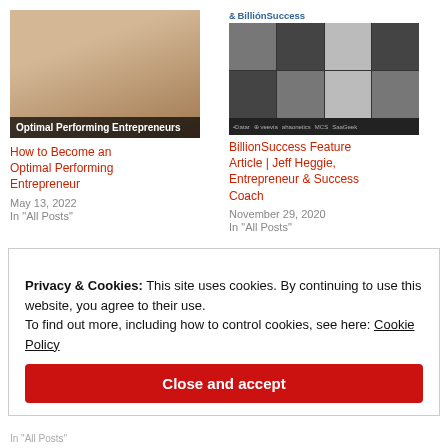[Figure (photo): Two smiling entrepreneurs (man and woman) in a shop, with overlay text 'Optimal Performing Entrepreneurs']
How to Become an Optimal Performing Entrepreneur
May 13, 2022
In "All Posts"
[Figure (photo): BillionSuccess branded grid of portrait photos in black and white, with logo bar at bottom]
BillionSuccess Feature Article | Jeff Heggie, Entrepreneur & Success Coach
November 29, 2020
In "All Posts"
Privacy & Cookies: This site uses cookies. By continuing to use this website, you agree to their use.
To find out more, including how to control cookies, see here: Cookie Policy
Close and accept
In "All Posts"